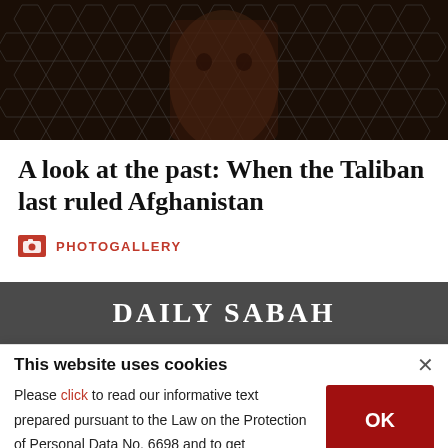[Figure (photo): A child's face peering through a hexagonal wire mesh fence, dark background]
A look at the past: When the Taliban last ruled Afghanistan
PHOTOGALLERY
DAILY SABAH
This website uses cookies
Please click to read our informative text prepared pursuant to the Law on the Protection of Personal Data No. 6698 and to get information about the cookies used on our